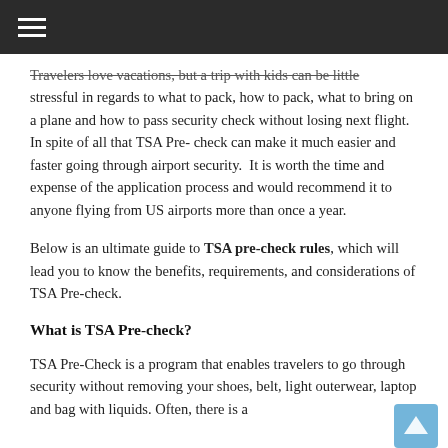≡
Travelers love vacations, but a trip with kids can be little stressful in regards to what to pack, how to pack, what to bring on a plane and how to pass security check without losing next flight. In spite of all that TSA Pre-check can make it much easier and faster going through airport security.  It is worth the time and expense of the application process and would recommend it to anyone flying from US airports more than once a year.
Below is an ultimate guide to TSA pre-check rules, which will lead you to know the benefits, requirements, and considerations of TSA Pre-check.
What is TSA Pre-check?
TSA Pre-Check is a program that enables travelers to go through security without removing your shoes, belt, light outerwear, laptop and bag with liquids. Often, there is a